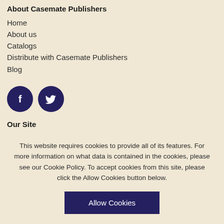About Casemate Publishers
Home
About us
Catalogs
Distribute with Casemate Publishers
Blog
[Figure (illustration): Facebook and Twitter social media icon circles in dark navy blue]
Our Site
Advanced Search
Contact Us
Customer Services
Shipping Details
This website requires cookies to provide all of its features. For more information on what data is contained in the cookies, please see our Cookie Policy. To accept cookies from this site, please click the Allow Cookies button below.
Allow Cookies